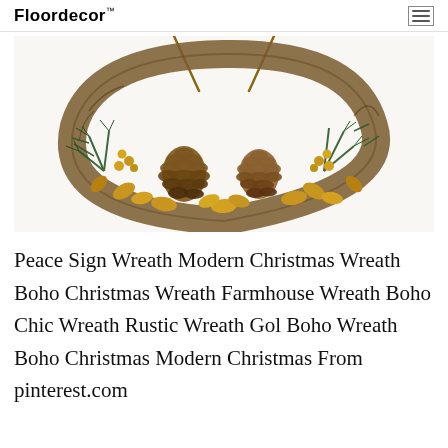Floordecor
[Figure (photo): A Christmas peace sign wreath made of grapevine decorated with pine cones, green pine branches, and gold-painted leaves and berries, photographed on a white background.]
Peace Sign Wreath Modern Christmas Wreath Boho Christmas Wreath Farmhouse Wreath Boho Chic Wreath Rustic Wreath Gol Boho Wreath Boho Christmas Modern Christmas From pinterest.com